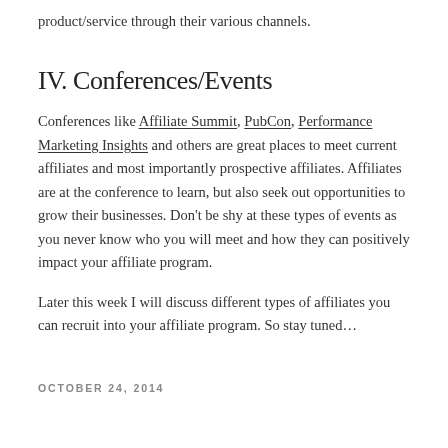product/service through their various channels.
IV. Conferences/Events
Conferences like Affiliate Summit, PubCon, Performance Marketing Insights and others are great places to meet current affiliates and most importantly prospective affiliates. Affiliates are at the conference to learn, but also seek out opportunities to grow their businesses. Don't be shy at these types of events as you never know who you will meet and how they can positively impact your affiliate program.
Later this week I will discuss different types of affiliates you can recruit into your affiliate program. So stay tuned…
OCTOBER 24, 2014